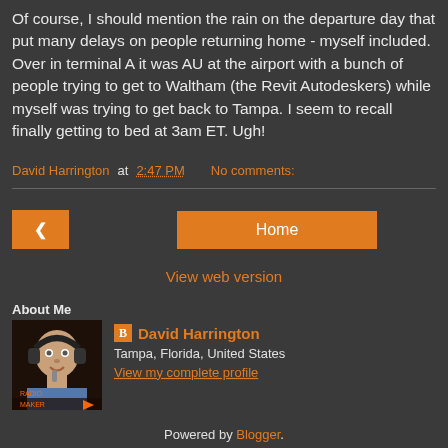Of course, I should mention the rain on the departure day that put many delays on people returning home - myself included. Over in terminal A it was AU at the airport with a bunch of people trying to get to Waltham (the Revit Autodeskers) while myself was trying to get back to Tampa. I seem to recall finally getting to bed at 3am ET. Ugh!
David Harrington at 2:47 PM   No comments:
View web version
About Me
David Harrington
Tampa, Florida, United States
View my complete profile
Powered by Blogger.